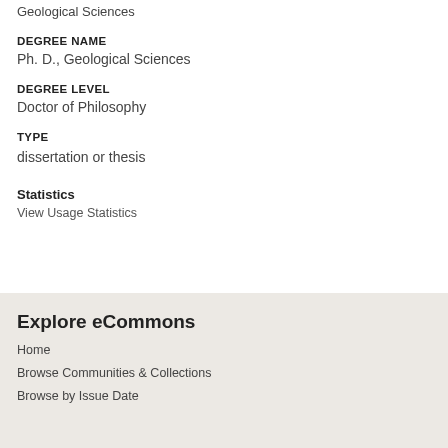Geological Sciences
DEGREE NAME
Ph. D., Geological Sciences
DEGREE LEVEL
Doctor of Philosophy
TYPE
dissertation or thesis
Statistics
View Usage Statistics
Explore eCommons
Home
Browse Communities & Collections
Browse by Issue Date